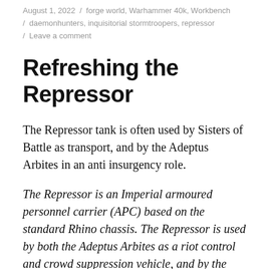August 1, 2022 / forge world, Warhammer 40k, Workbench / daemonhunters, inquisitorial stormtroopers, repressor / Leave a comment
Refreshing the Repressor
The Repressor tank is often used by Sisters of Battle as transport, and by the Adeptus Arbites in an anti insurgency role.
The Repressor is an Imperial armoured personnel carrier (APC) based on the standard Rhino chassis. The Repressor is used by both the Adeptus Arbites as a riot control and crowd suppression vehicle, and by the Adepa Sororitas as an infantry transport during intense urban battles. The